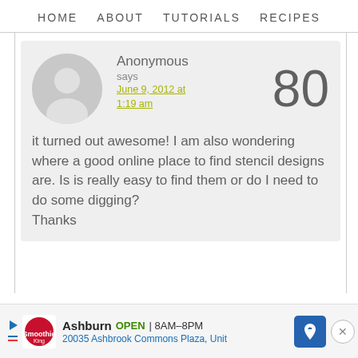HOME   ABOUT   TUTORIALS   RECIPES
[Figure (illustration): Anonymous user avatar: grey circle with white silhouette of a person]
Anonymous
says
June 9, 2012 at 1:19 am
80
it turned out awesome! I am also wondering where a good online place to find stencil designs are. Is is really easy to find them or do I need to do some digging?
Thanks
Ashburn  OPEN  8AM–8PM
20035 Ashbrook Commons Plaza, Unit